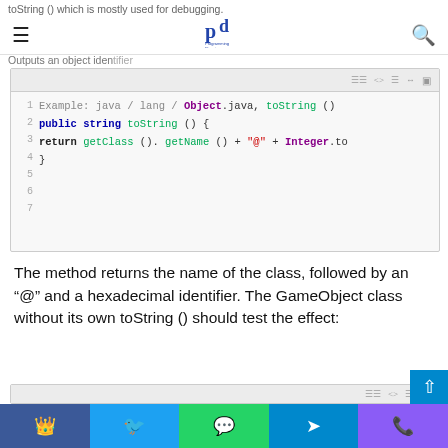toString () which is mostly used for debugging.
[Figure (logo): Programming Digest logo with 'pd' letters]
Outputs an object identifier
[Figure (screenshot): Code block showing: Example: java / lang / Object.java, toString () | public string toString () { | return getClass (). getName () + "@" + Integer.to | }]
The method returns the name of the class, followed by an “@” and a hexadecimal identifier. The GameObject class without its own toString () should test the effect:
[Figure (screenshot): Second code block toolbar area]
Social share bar: Facebook, Twitter, WhatsApp, Telegram, Phone